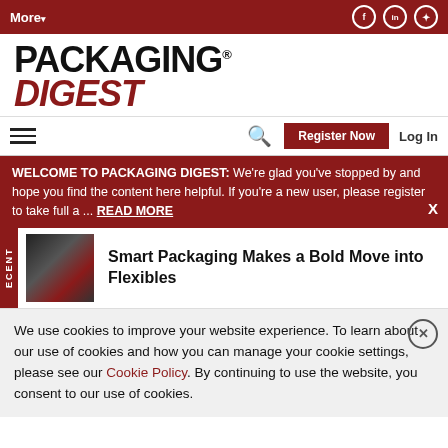More▾  [social icons: Facebook, LinkedIn, Twitter]
PACKAGING DIGEST
☰  🔍  Register Now  Log In
WELCOME TO PACKAGING DIGEST: We're glad you've stopped by and hope you find the content here helpful. If you're a new user, please register to take full a ... READ MORE  X
RECENT  Smart Packaging Makes a Bold Move into Flexibles
We use cookies to improve your website experience. To learn about our use of cookies and how you can manage your cookie settings, please see our Cookie Policy. By continuing to use the website, you consent to our use of cookies.